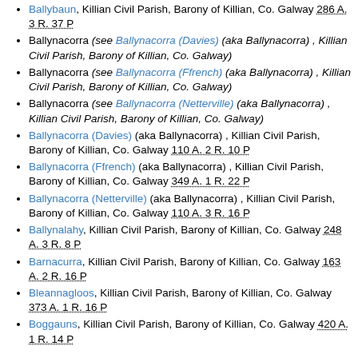Ballybaun, Killian Civil Parish, Barony of Killian, Co. Galway 286 A. 3 R. 37 P
Ballynacorra (see Ballynacorra (Davies) (aka Ballynacorra) , Killian Civil Parish, Barony of Killian, Co. Galway)
Ballynacorra (see Ballynacorra (Ffrench) (aka Ballynacorra) , Killian Civil Parish, Barony of Killian, Co. Galway)
Ballynacorra (see Ballynacorra (Netterville) (aka Ballynacorra) , Killian Civil Parish, Barony of Killian, Co. Galway)
Ballynacorra (Davies) (aka Ballynacorra) , Killian Civil Parish, Barony of Killian, Co. Galway 110 A. 2 R. 10 P
Ballynacorra (Ffrench) (aka Ballynacorra) , Killian Civil Parish, Barony of Killian, Co. Galway 349 A. 1 R. 22 P
Ballynacorra (Netterville) (aka Ballynacorra) , Killian Civil Parish, Barony of Killian, Co. Galway 110 A. 3 R. 16 P
Ballynalahy, Killian Civil Parish, Barony of Killian, Co. Galway 248 A. 3 R. 8 P
Barnacurra, Killian Civil Parish, Barony of Killian, Co. Galway 163 A. 2 R. 16 P
Bleannagloos, Killian Civil Parish, Barony of Killian, Co. Galway 373 A. 1 R. 16 P
Boggauns, Killian Civil Parish, Barony of Killian, Co. Galway 420 A. 1 R. 14 P